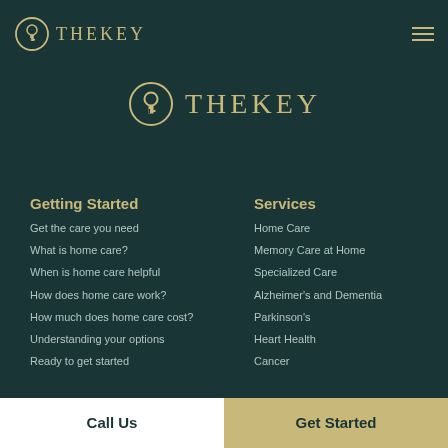[Figure (logo): TheKey logo in navigation bar - keyhole icon in circle with THE KEY text in gold on dark teal background]
[Figure (logo): TheKey logo centered large - keyhole icon in circle with THE KEY text in gold]
Getting Started
Services
Get the care you need
Home Care
What is home care?
Memory Care at Home
When is home care helpful
Specialized Care
How does home care work?
Alzheimer's and Dementia
How much does home care cost?
Parkinson's
Understanding your options
Heart Health
Ready to get started
Cancer
Call Us
Get Started